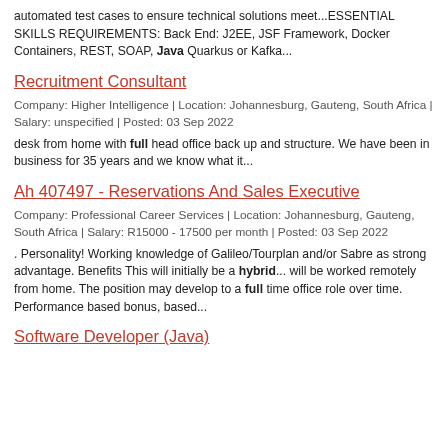automated test cases to ensure technical solutions meet...ESSENTIAL SKILLS REQUIREMENTS: Back End: J2EE, JSF Framework, Docker Containers, REST, SOAP, Java Quarkus or Kafka...
Recruitment Consultant
Company: Higher Intelligence | Location: Johannesburg, Gauteng, South Africa | Salary: unspecified | Posted: 03 Sep 2022
desk from home with full head office back up and structure. We have been in business for 35 years and we know what it...
Ah 407497 - Reservations And Sales Executive
Company: Professional Career Services | Location: Johannesburg, Gauteng, South Africa | Salary: R15000 - 17500 per month | Posted: 03 Sep 2022
. Personality! Working knowledge of Galileo/Tourplan and/or Sabre as strong advantage. Benefits This will initially be a hybrid... will be worked remotely from home. The position may develop to a full time office role over time. Performance based bonus, based...
Software Developer (Java)